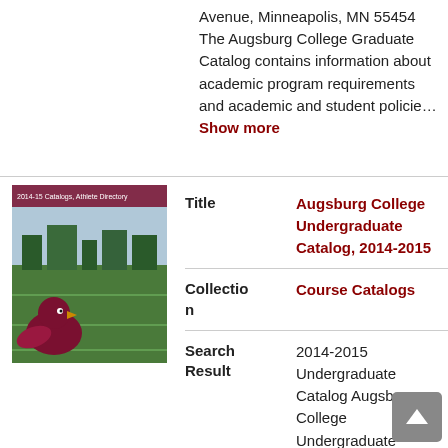Avenue, Minneapolis, MN 55454 The Augsburg College Graduate Catalog contains information about academic program requirements and academic and student policie… Show more
[Figure (photo): Thumbnail cover image of Augsburg College Undergraduate Catalog 2014-2015 showing a football field and a bird mascot]
| Field | Value |
| --- | --- |
| Title | Augsburg College Undergraduate Catalog, 2014-2015 |
| Collection | Course Catalogs |
| Search Result | 2014-2015 Undergraduate Catalog Augsburg College Undergraduate Catalog 2014-2015 Official Publication of Augsburg College 2211 Riverside Avenue, Minneapolis, MN 55454 The Augsburg College Undergraduate Catalog contains information about academic program requirements and academic and student... |